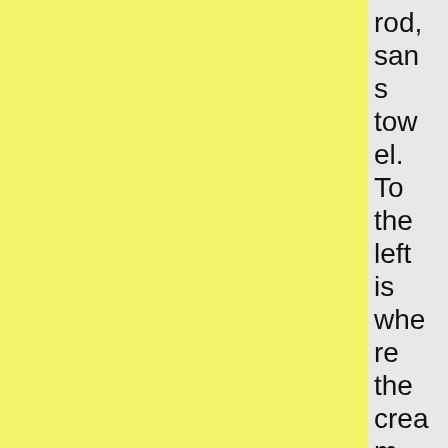[Figure (other): Yellow textured panel on the left side of the page]
[Figure (other): Light gray panel in the middle of the page]
rod, sans towel. To the left is where the cream-colored counter was. It was rem